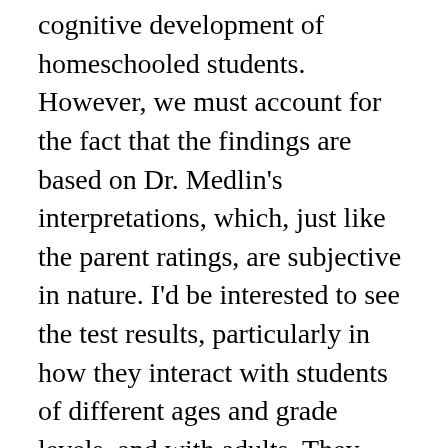cognitive development of homeschooled students. However, we must account for the fact that the findings are based on Dr. Medlin's interpretations, which, just like the parent ratings, are subjective in nature. I'd be interested to see the test results, particularly in how they interact with students of different ages and grade levels, and with adults. They may do better too if they took a test at home. Congressional Record, September 5, 1979 (pp. Hundreds of lessons, activities, workbooks, games and movies in a growing member library. This study reported exceptionally high achievement scores on high school achievement tests, by homeschool students as compared to regular school students. It is